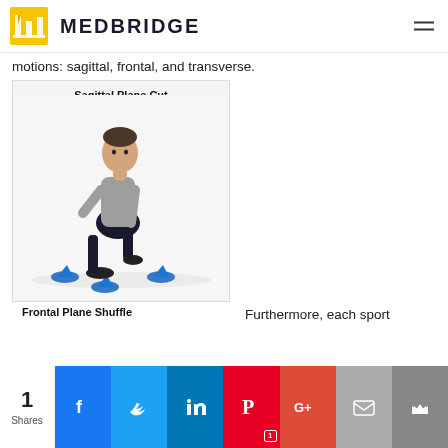MEDBRIDGE
motions: sagittal, frontal, and transverse.
[Figure (photo): Person performing a Sagittal Plane Cut exercise, shown mid-movement with blue training cones on the ground]
Sagittal Plane Cut
Frontal Plane Shuffle
Furthermore, each sport
1 Shares | Facebook | Twitter | LinkedIn | Pinterest 1 | Google+ | Email | Crown